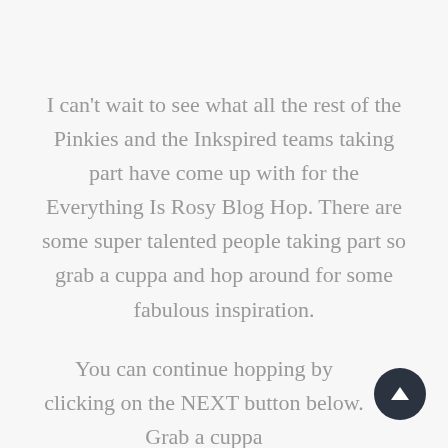I can't wait to see what all the rest of the Pinkies and the Inkspired teams taking part have come up with for the Everything Is Rosy Blog Hop. There are some super talented people taking part so grab a cuppa and hop around for some fabulous inspiration.
You can continue hopping by clicking on the NEXT button below. Grab a cuppa